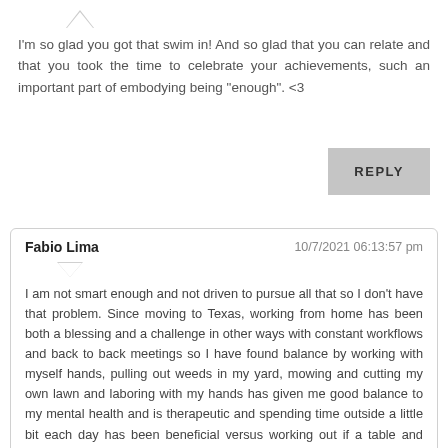I'm so glad you got that swim in! And so glad that you can relate and that you took the time to celebrate your achievements, such an important part of embodying being "enough". <3
REPLY
Fabio Lima    10/7/2021 06:13:57 pm
I am not smart enough and not driven to pursue all that so I don't have that problem. Since moving to Texas, working from home has been both a blessing and a challenge in other ways with constant workflows and back to back meetings so I have found balance by working with myself hands, pulling out weeds in my yard, mowing and cutting my own lawn and laboring with my hands has given me good balance to my mental health and is therapeutic and spending time outside a little bit each day has been beneficial versus working out if a table and laptop in a spare bedroom all day all week long.
I have opportunities to grow at my organization but I love being at home and accessible to my family and work is how I make my living to take care of us, if ranks very low in order of priorities.